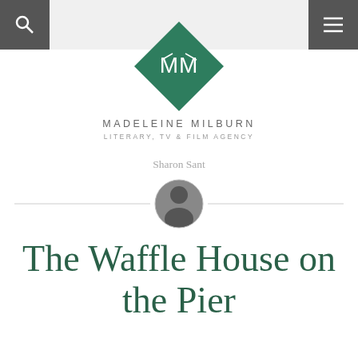Madeleine Milburn Literary, TV & Film Agency
[Figure (logo): Madeleine Milburn Literary, TV & Film Agency diamond-shaped green logo with stylized MM monogram]
Sharon Sant
[Figure (photo): Small circular black and white portrait photo of Sharon Sant]
The Waffle House on the Pier